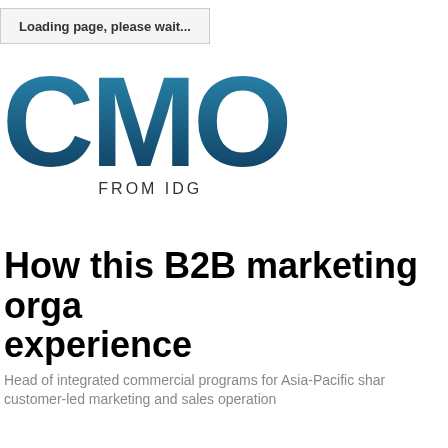Loading page, please wait...
[Figure (logo): CMO from IDG logo with large teal/dark blue gradient letters 'CMO' and 'FROM IDG' subtitle]
How this B2B marketing orga experience
Head of integrated commercial programs for Asia-Pacific shar customer-led marketing and sales operation